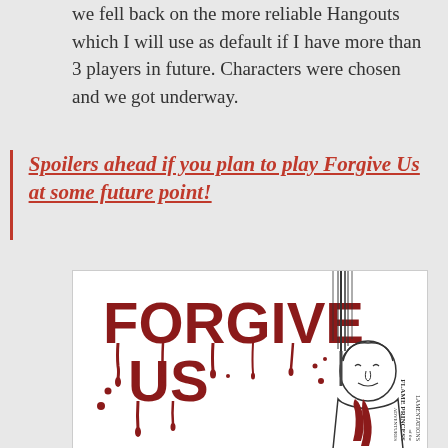we fell back on the more reliable Hangouts which I will use as default if I have more than 3 players in future. Characters were chosen and we got underway.
Spoilers ahead if you plan to play Forgive Us at some future point!
[Figure (illustration): Cover art for 'Forgive Us' by Lamentations of the Flame Princess Adventures. Shows the word FORGIVE US in dripping blood-red letters, alongside an illustration of a man with a spike through his head, blood running down his coat. The publisher name 'Lamentations of the Flame Princess Adventures' appears vertically on the right side.]